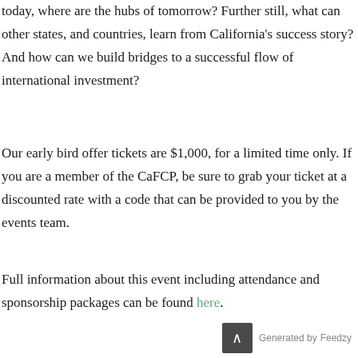today, where are the hubs of tomorrow? Further still, what can other states, and countries, learn from California's success story? And how can we build bridges to a successful flow of international investment?
Our early bird offer tickets are $1,000, for a limited time only. If you are a member of the CaFCP, be sure to grab your ticket at a discounted rate with a code that can be provided to you by the events team.
Full information about this event including attendance and sponsorship packages can be found here.
Generated by Feedzy